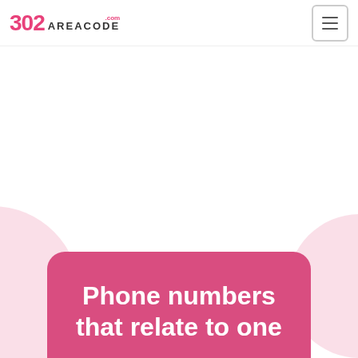302 AREACODE.com
[Figure (logo): 302 AreaCode.com logo with pink 302 numeral and dark AREACODE text]
Phone numbers that relate to one